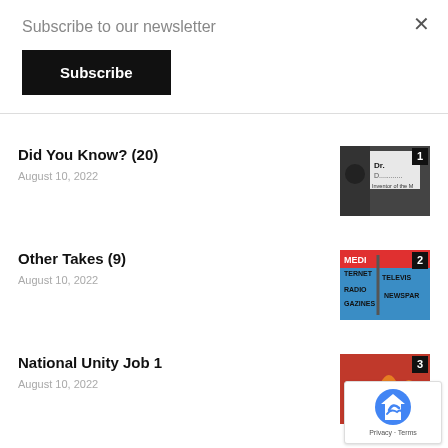Subscribe to our newsletter
Subscribe
×
Did You Know? (20)
August 10, 2022
[Figure (photo): Thumbnail image with number badge 1, showing Dr. Damadian Inventor of the MRI]
Other Takes (9)
August 10, 2022
[Figure (photo): Thumbnail image with number badge 2, showing media street signs: MEDIA, INTERNET, TELEVISION, RADIO, MAGAZINES, NEWSPAPER]
National Unity Job 1
August 10, 2022
[Figure (photo): Thumbnail image with number badge 3, showing a red and orange illustration, partially obscured by reCAPTCHA]
Secretary Blinken Increasingly has Armenian